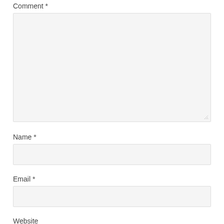Comment *
[Figure (screenshot): Large textarea input box with light gray background and resize handle at bottom right]
Name *
[Figure (screenshot): Single-line text input box with light gray background]
Email *
[Figure (screenshot): Single-line text input box with light gray background]
Website